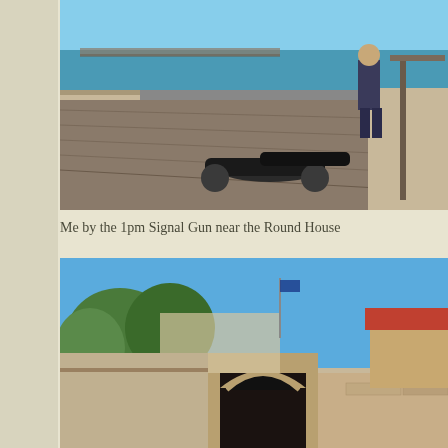[Figure (photo): A person standing on a fortification wall next to a historic cannon on a wooden deck platform. The ocean and a pier are visible in the background under bright daylight. Stone walls are visible on the sides.]
Me by the 1pm Signal Gun near the Round House
[Figure (photo): Exterior view of the Round House, a historic stone building with an arched gateway entrance. Trees and blue sky are visible above. Red-roofed buildings are visible in the background to the right.]